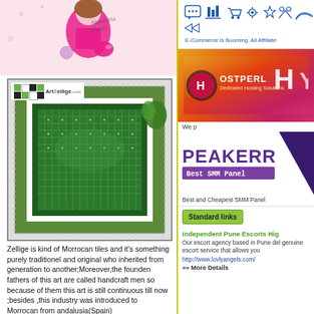[Figure (illustration): Fashion illustration of a woman in pink outfit holding a pink handbag with text 'Alexandria Janssen']
[Figure (photo): Aerial view of a Zellige mosaic swimming pool with black and white border tiles and green center, with Art Zellige logo overlay]
Zellige is kind of Morrocan tiles and it's something purely traditionel and original who inherited from generation to another;Moreover,the founden fathers of this art are called handcraft men so because of them this art is still continuous till now ;besides ,this industry was introduced to Morrocan from andalusia(Spain)
» The Best SMM Panel Start From 0.001$ Review SMM panel services are
[Figure (illustration): E-Commerce Is Booming. All Affiliate banner with blue icons]
[Figure (illustration): Hostperl Dedicated Hosting Solutions orange/red gradient banner with large H and Y letters]
We p
[Figure (illustration): PEAKERR Best SMM Panel banner with purple text and dark purple triangle]
Best and Cheapest SMM Panel
Standard links
Independent Pune Escorts Hig
Our escort agency based in Pune del genuine escort service that allows you
http://www.lovlyangels.com/
»» More Details